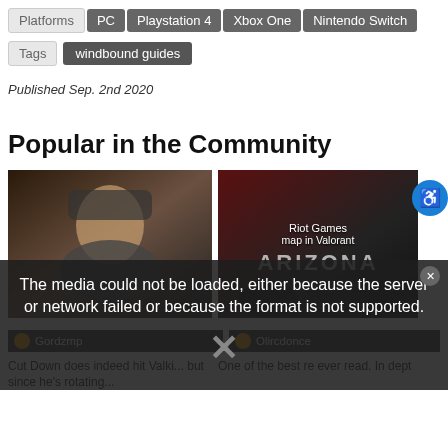Platforms  PC  Playstation 4  Xbox One  Nintendo Switch
Tags  windbound guides
Published Sep. 2nd 2020
Popular in the Community
[Figure (screenshot): Two community content cards below 'Popular in the Community' heading. Left card shows a female character. Right card shows 'ARIZONA' text overlay on dark background. A media error overlay reads: 'The media could not be loaded, either because the server or network failed or because the format is not supported.' with an X dismiss icon. Below left card: Gordzmp user snippet 'Cut Down does indeed hit Valki... but since he's rotating...'. Below right card: Olircdonce snippet 'One of the best re ever read. In dept'. Riot Games / map in Valorant label on right card. Accessibility icon button top right of right card.]